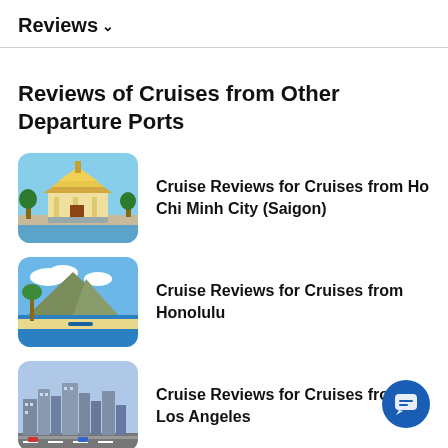Reviews ∨
Reviews of Cruises from Other Departure Ports
Cruise Reviews for Cruises from Ho Chi Minh City (Saigon)
Cruise Reviews for Cruises from Honolulu
Cruise Reviews for Cruises from Los Angeles